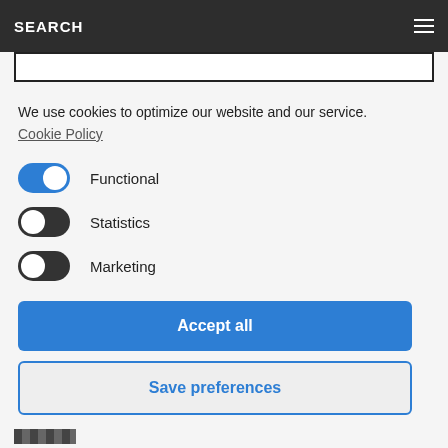SEARCH
We use cookies to optimize our website and our service.  Cookie Policy
Functional
Statistics
Marketing
Accept all
Save preferences
[Figure (photo): Small thumbnail image at bottom left]